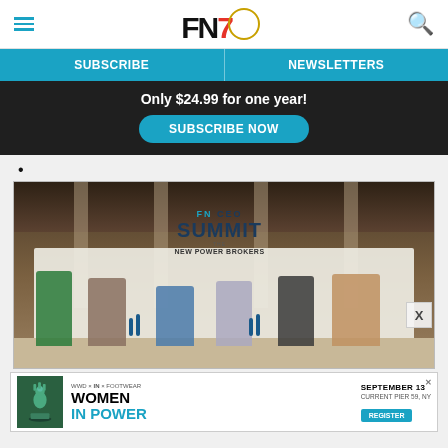FN7 — Navigation header with hamburger menu, logo, and search icon
SUBSCRIBE | NEWSLETTERS
Only $24.99 for one year!
SUBSCRIBE NOW
•
[Figure (photo): Panel discussion at FN CEO Summit - The New Power Brokers event. Six panelists seated on a stage with white backdrop showing FN CEO SUMMIT THE NEW POWER BROKERS text.]
[Figure (photo): Advertisement for Women In Power event. Shows chess queen piece in green, logos for WWD, IN, FOOTWEAR NEWS, date September 13, Current Pier 59 NY, with Register button and X close button.]